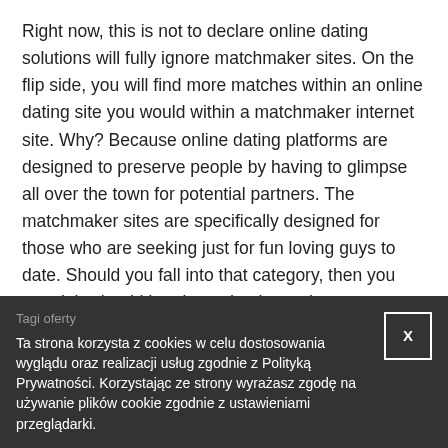Right now, this is not to declare online dating solutions will fully ignore matchmaker sites. On the flip side, you will find more matches within an online dating site you would within a matchmaker internet site. Why? Because online dating platforms are designed to preserve people by having to glimpse all over the town for potential partners. The matchmaker sites are specifically designed for those who are seeking just for fun loving guys to date. Should you fall into that category, then you certainly should be pleased to know that you can get a good matchmaker site online!
Tagi oferty
Ta strona korzysta z cookies w celu dostosowania wyglądu oraz realizacji usług zgodnie z Polityką Prywatności. Korzystając ze strony wyrażasz zgodę na używanie plików cookie zgodnie z ustawieniami przeglądarki.